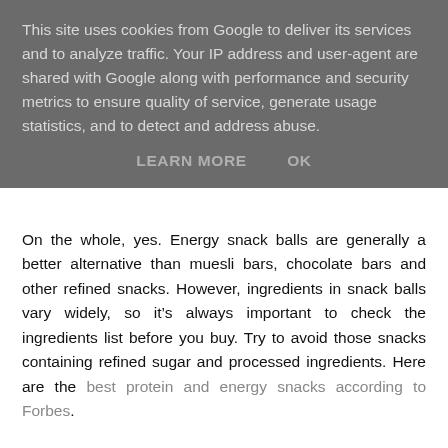This site uses cookies from Google to deliver its services and to analyze traffic. Your IP address and user-agent are shared with Google along with performance and security metrics to ensure quality of service, generate usage statistics, and to detect and address abuse.
LEARN MORE   OK
On the whole, yes. Energy snack balls are generally a better alternative than muesli bars, chocolate bars and other refined snacks. However, ingredients in snack balls vary widely, so it’s always important to check the ingredients list before you buy. Try to avoid those snacks containing refined sugar and processed ingredients. Here are the best protein and energy snacks according to Forbes.
While wholefood, raw, natural and energy are all words with a healthy connotation, don’t make the assumption that just because they are mentioned on the packaging, there aren’t hidden nasties inside. Always read the label.
Also, be mindful that many snack balls have a high